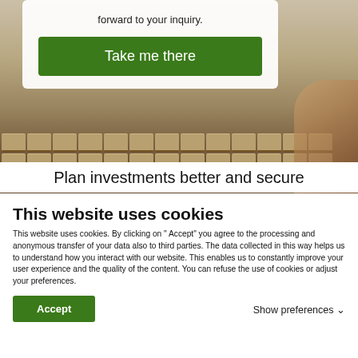[Figure (screenshot): Screenshot of a website showing a keyboard background image with a modal overlay containing the text 'forward to your inquiry.' and a green 'Take me there' button.]
Plan investments better and secure
This website uses cookies
This website uses cookies. By clicking on " Accept" you agree to the processing and anonymous transfer of your data also to third parties. The data collected in this way helps us to understand how you interact with our website. This enables us to constantly improve your user experience and the quality of the content. You can refuse the use of cookies or adjust your preferences.
Accept
Show preferences